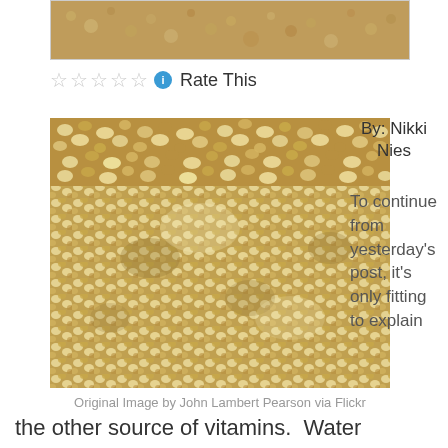[Figure (photo): Close-up photo of quinoa grains, cropped at top of page]
Rate This
[Figure (photo): Close-up macro photograph of quinoa grains, golden and white colored]
Original Image by John Lambert Pearson via Flickr
By: Nikki Nies
To continue from yesterday's post, it's only fitting to explain
the other source of vitamins.  Water